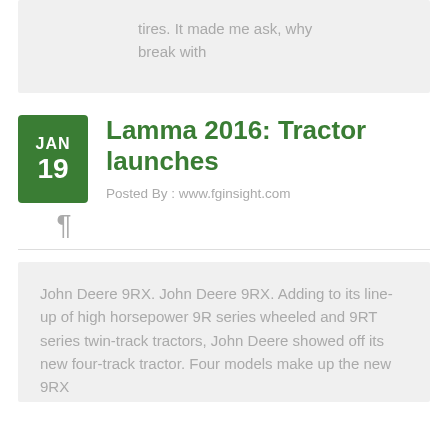tires. It made me ask, why break with
Lamma 2016: Tractor launches
Posted By : www.fginsight.com
John Deere 9RX. John Deere 9RX. Adding to its line-up of high horsepower 9R series wheeled and 9RT series twin-track tractors, John Deere showed off its new four-track tractor. Four models make up the new 9RX